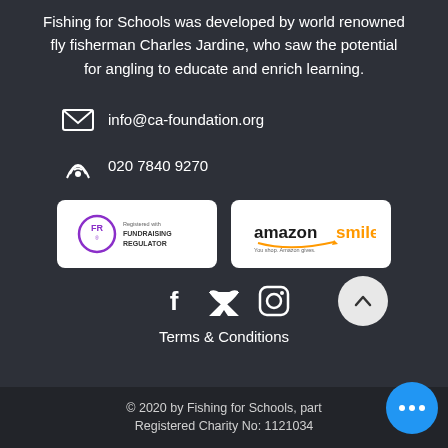Fishing for Schools was developed by world renowned fly fisherman Charles Jardine, who saw the potential for angling to educate and enrich learning.
info@ca-foundation.org
020 7840 9270
[Figure (logo): Fundraising Regulator logo - FR circle badge with 'Registered with FUNDRAISING REGULATOR' text]
[Figure (logo): Amazon Smile logo - 'amazonsmile You shop. Amazon gives.']
[Figure (infographic): Social media icons: Facebook, Twitter, Instagram, and back-to-top arrow button]
Terms & Conditions
© 2020 by Fishing for Schools, part Registered Charity No: 1121034